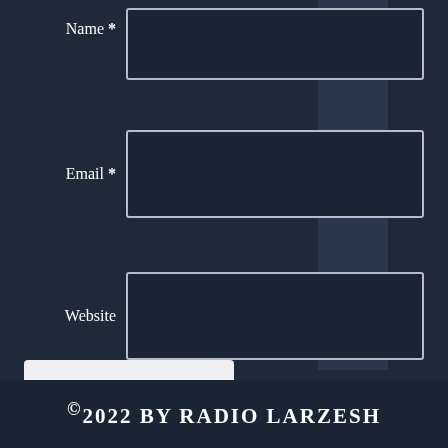Name *
Email *
Website
Save my name, email, and website in this browser for the next time I comment.
Post Comment
©2022 BY RADIO LARZESH